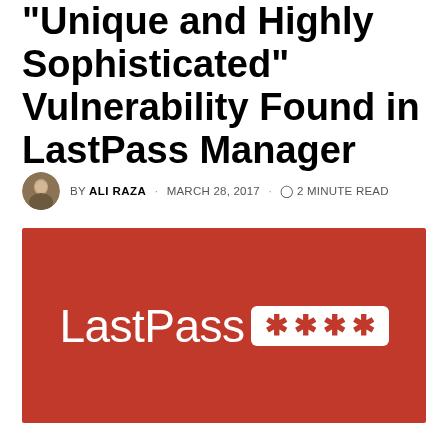“Unique and Highly Sophisticated” Vulnerability Found in LastPass Manager
BY ALI RAZA · MARCH 28, 2017 · 2 MINUTE READ
[Figure (logo): LastPass logo with white text on red background and password asterisks in a white rounded box]